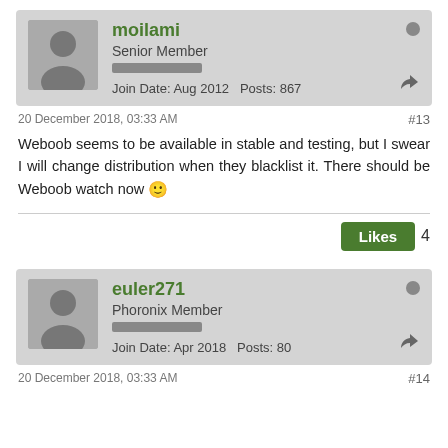moilami — Senior Member — Join Date: Aug 2012 — Posts: 867
20 December 2018, 03:33 AM  #13
Weboob seems to be available in stable and testing, but I swear I will change distribution when they blacklist it. There should be Weboob watch now 🙂
Likes  4
euler271 — Phoronix Member — Join Date: Apr 2018 — Posts: 80
20 December 2018, 03:33 AM  #14